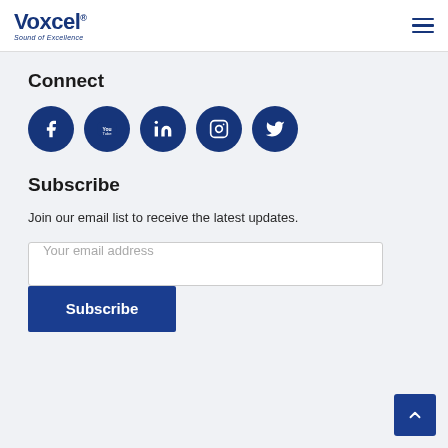Voxcel — Sound of Excellence
Connect
[Figure (infographic): Five circular dark blue social media icons: Facebook, YouTube, LinkedIn, Instagram, Twitter]
Subscribe
Join our email list to receive the latest updates.
Your email address
Subscribe